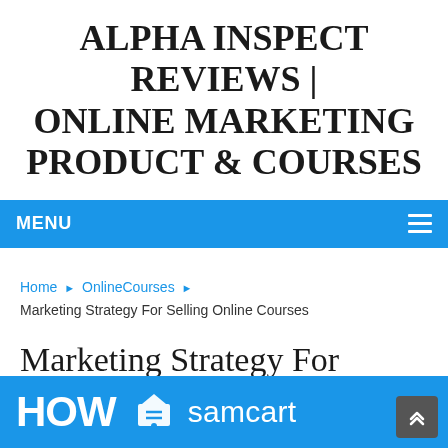ALPHA INSPECT REVIEWS | ONLINE MARKETING PRODUCT & COURSES
MENU
Home ▶ OnlineCourses ▶ Marketing Strategy For Selling Online Courses
Marketing Strategy For Selling Online Courses
[Figure (screenshot): Banner image showing 'HOW' in large white text with a samcart box icon and 'samcart' text on a blue background]